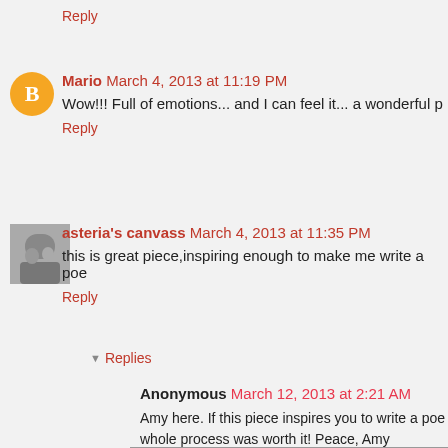Reply
Mario March 4, 2013 at 11:19 PM
Wow!!! Full of emotions... and I can feel it... a wonderful p
Reply
asteria's canvass March 4, 2013 at 11:35 PM
this is great piece,inspiring enough to make me write a poe
Reply
Replies
Anonymous March 12, 2013 at 2:21 AM
Amy here. If this piece inspires you to write a poem, whole process was worth it! Peace, Amy